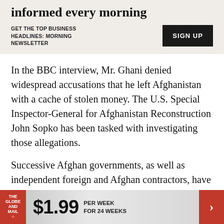[Figure (screenshot): Advertisement banner with text 'informed every morning', subtext 'GET THE TOP BUSINESS HEADLINES: MORNING NEWSLETTER', and a SIGN UP button on a beige background.]
In the BBC interview, Mr. Ghani denied widespread accusations that he left Afghanistan with a cache of stolen money. The U.S. Special Inspector-General for Afghanistan Reconstruction John Sopko has been tasked with investigating those allegations.
Successive Afghan governments, as well as independent foreign and Afghan contractors, have been accused of widespread corruption, with dozens of reports by Mr. Sopko documenting the
[Figure (infographic): The Globe and Mail subscription ad at bottom: logo on red background, '$1.99 PER WEEK FOR 24 WEEKS', red arrow on right.]